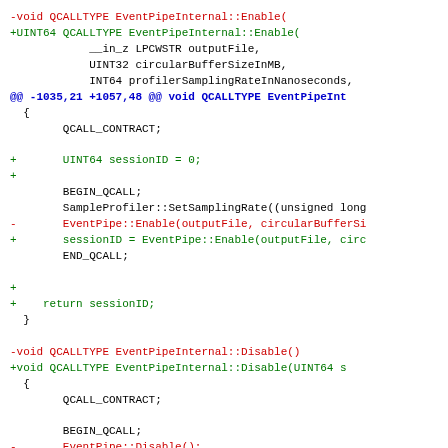Code diff showing changes to EventPipeInternal::Enable and EventPipeInternal::Disable functions, adding session ID support and return values.